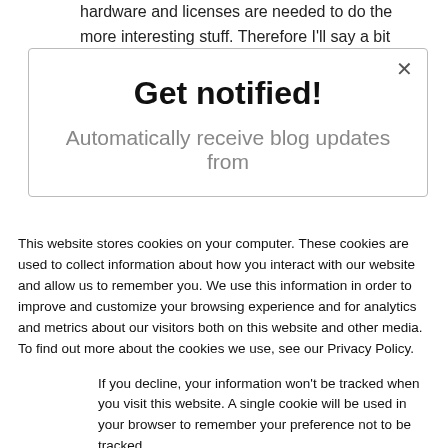hardware and licenses are needed to do the more interesting stuff. Therefore I'll say a bit more about that in this blog.
I'll go into the traditional options with
Get notified!
Automatically receive blog updates from
This website stores cookies on your computer. These cookies are used to collect information about how you interact with our website and allow us to remember you. We use this information in order to improve and customize your browsing experience and for analytics and metrics about our visitors both on this website and other media. To find out more about the cookies we use, see our Privacy Policy.
If you decline, your information won't be tracked when you visit this website. A single cookie will be used in your browser to remember your preference not to be tracked.